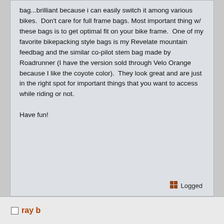bag...brilliant because i can easily switch it among various bikes.  Don't care for full frame bags. Most important thing w/ these bags is to get optimal fit on your bike frame.  One of my favorite bikepacking style bags is my Revelate mountain feedbag and the similar co-pilot stem bag made by Roadrunner (I have the version sold through Velo Orange because I like the coyote color).  They look great and are just in the right spot for important things that you want to access while riding or not.

Have fun!
Logged
ray b